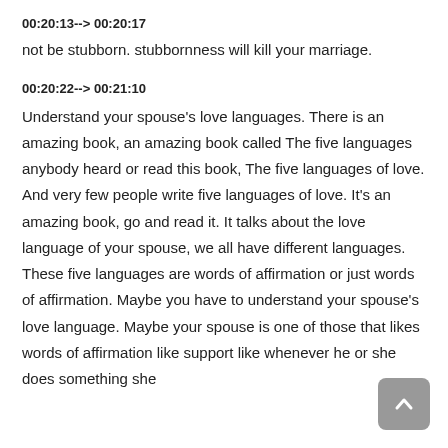00:20:13--> 00:20:17
not be stubborn. stubbornness will kill your marriage.
00:20:22--> 00:21:10
Understand your spouse's love languages. There is an amazing book, an amazing book called The five languages anybody heard or read this book, The five languages of love. And very few people write five languages of love. It's an amazing book, go and read it. It talks about the love language of your spouse, we all have different languages. These five languages are words of affirmation or just words of affirmation. Maybe you have to understand your spouse's love language. Maybe your spouse is one of those that likes words of affirmation like support like whenever he or she does something she